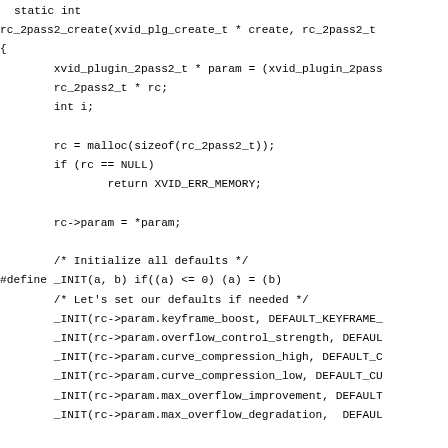static int
rc_2pass2_create(xvid_plg_create_t * create, rc_2pass2_t
{
        xvid_plugin_2pass2_t * param = (xvid_plugin_2pass
        rc_2pass2_t * rc;
        int i;

        rc = malloc(sizeof(rc_2pass2_t));
        if (rc == NULL)
                return XVID_ERR_MEMORY;

        rc->param = *param;

        /* Initialize all defaults */
#define _INIT(a, b) if((a) <= 0) (a) = (b)
        /* Let's set our defaults if needed */
        _INIT(rc->param.keyframe_boost, DEFAULT_KEYFRAME_
        _INIT(rc->param.overflow_control_strength, DEFAUL
        _INIT(rc->param.curve_compression_high, DEFAULT_C
        _INIT(rc->param.curve_compression_low, DEFAULT_CU
        _INIT(rc->param.max_overflow_improvement, DEFAULT
        _INIT(rc->param.max_overflow_degradation,  DEFAUL

        /* Keyframe settings */
        _INIT(rc->param.kfreduction, DEFAULT_KFREDUCTION)
        _INIT(rc->param.kfthreshold, DEFAULT_KFTHRESHOLD)
#undef _INIT

        /* Initialize some stuff to zero */